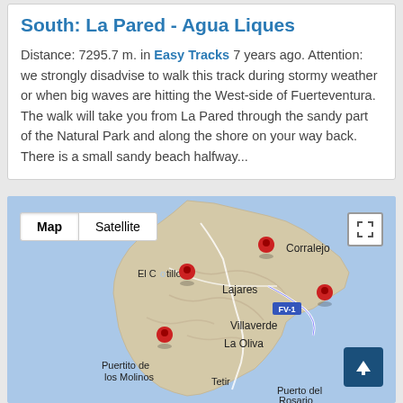South: La Pared - Agua Liques
Distance: 7295.7 m. in Easy Tracks 7 years ago. Attention: we strongly disadvise to walk this track during stormy weather or when big waves are hitting the West-side of Fuerteventura. The walk will take you from La Pared through the sandy part of the Natural Park and along the shore on your way back. There is a small sandy beach halfway...
[Figure (map): Google Maps view of Fuerteventura showing map/satellite toggle controls, location pins at Corralejo, Lajares, Villaverde/La Oliva area, and labels for El Cotillo, Lajares, Corralejo, Villaverde, La Oliva, Puertito de los Molinos, Tetir, Puerto del Rosario. Road FV-1 marked.]